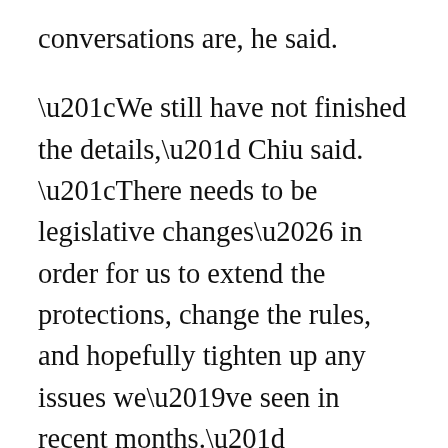conversations are, he said.
“We still have not finished the details,” Chiu said. “There needs to be legislative changes… in order for us to extend the protections, change the rules, and hopefully tighten up any issues we’ve seen in recent months.”
On Tuesday, California IAF released